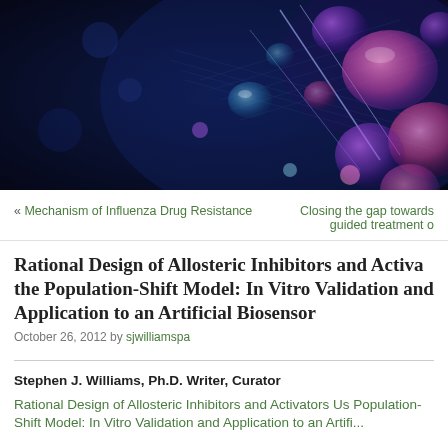[Figure (photo): Dark blue background with glowing pink, purple, and blue spherical molecules or cells floating in space, with geometric grid lines and bokeh lighting effects.]
« Mechanism of Influenza Drug Resistance
Closing the gap towards guided treatment o
Rational Design of Allosteric Inhibitors and Activa the Population-Shift Model: In Vitro Validation and Application to an Artificial Biosensor
October 26, 2012 by sjwilliamspa
Stephen J. Williams, Ph.D. Writer, Curator
Rational Design of Allosteric Inhibitors and Activators Us Population-Shift Model: In Vitro Validation and Application to an Artifi...